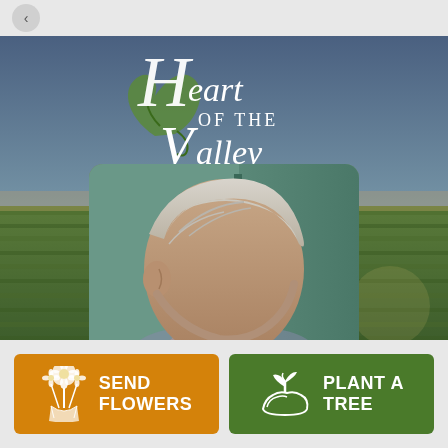[Figure (logo): Heart of the Valley Cremation Services logo with decorative script text and green leaf/heart graphic element, shown in white over landscape background]
[Figure (photo): Close-up photo of an elderly person with white/silver hair, partial side profile view, near what appears to be a teal/green vehicle]
[Figure (infographic): Two call-to-action buttons: orange 'Send Flowers' button with flower bouquet icon, and green 'Plant a Tree' button with seedling/hand icon]